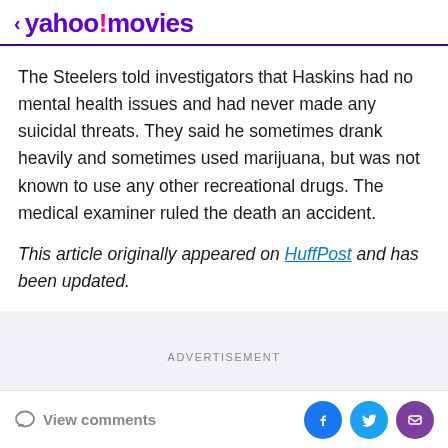< yahoo!movies
The Steelers told investigators that Haskins had no mental health issues and had never made any suicidal threats. They said he sometimes drank heavily and sometimes used marijuana, but was not known to use any other recreational drugs. The medical examiner ruled the death an accident.
This article originally appeared on HuffPost and has been updated.
ADVERTISEMENT
View comments